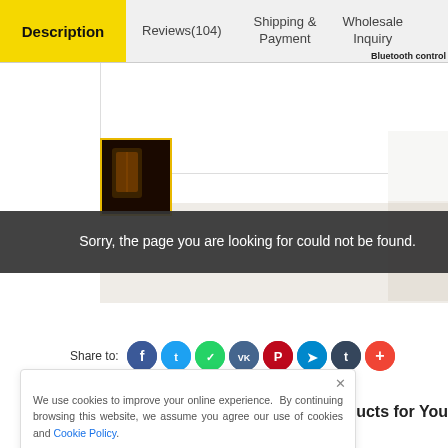Description | Reviews(104) | Shipping & Payment | Wholesale Inquiry
[Figure (screenshot): Product thumbnail - dark interior image with amber/brown tones]
Sorry, the page you are looking for could not be found.
Share to:
[Figure (infographic): Social sharing icons: Facebook, Twitter, WhatsApp, VK, Pinterest, Telegram, Tumblr, plus button]
We use cookies to improve your online experience. By continuing browsing this website, we assume you agree our use of cookies and Cookie Policy.